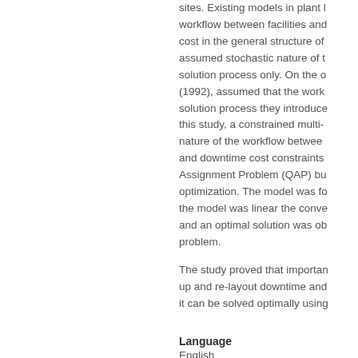sites. Existing models in plant layout consider the workflow between facilities and the relocation cost in the general structure of the problem while the assumed stochastic nature of the workflow simplifies the solution process only. On the other hand, Rosenblatt (1992), assumed that the workflow is stochastic; for the solution process they introduced simulation. In this study, a constrained multi-period model considering the nature of the workflow between facilities with budget and downtime cost constraints is formulated as a Quadratic Assignment Problem (QAP) but extended for dynamic optimization. The model was found to be non-linear but if the model was linear the convexity was proved and an optimal solution was obtained for the simplified problem.
The study proved that important factors such as set-up and re-layout downtime and cost can be modelled and it can be solved optimally using...
Language
English
Format
Print